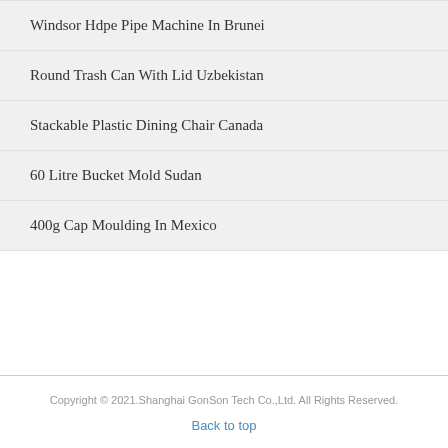Windsor Hdpe Pipe Machine In Brunei
Round Trash Can With Lid Uzbekistan
Stackable Plastic Dining Chair Canada
60 Litre Bucket Mold Sudan
400g Cap Moulding In Mexico
Copyright © 2021.Shanghai GonSon Tech Co.,Ltd. All Rights Reserved.
Back to top